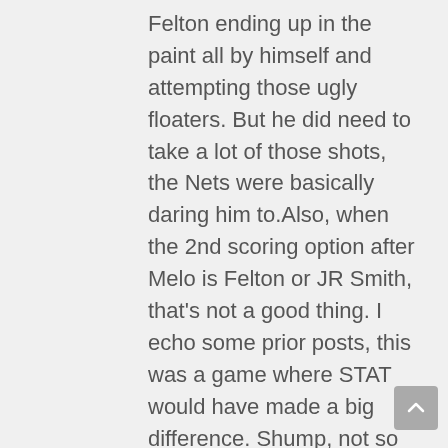Felton ending up in the paint all by himself and attempting those ugly floaters. But he did need to take a lot of those shots, the Nets were basically daring him to.Also, when the 2nd scoring option after Melo is Felton or JR Smith, that's not a good thing. I echo some prior posts, this was a game where STAT would have made a big difference. Shump, not so much, our D was not the problem.